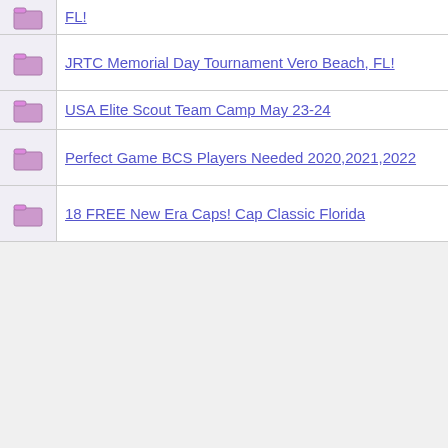FL!
JRTC Memorial Day Tournament Vero Beach, FL!
USA Elite Scout Team Camp May 23-24
Perfect Game BCS Players Needed 2020,2021,2022
18 FREE New Era Caps! Cap Classic Florida
North Florida Perfect Game 2019 Events
17U PST Panthers- Summer 2019
17U PST Panthers- Summer 2019
2018 Winter Showcase In FLORIDA 12/27 - 31
Grandfather 2019 Cooperstown Ticket needed
Opportunity for Guest Pitchers in Fort Myers 13u
SE Triple Crown North Florida Kickoff Classic!
Spacecoast Viera Accomodations???